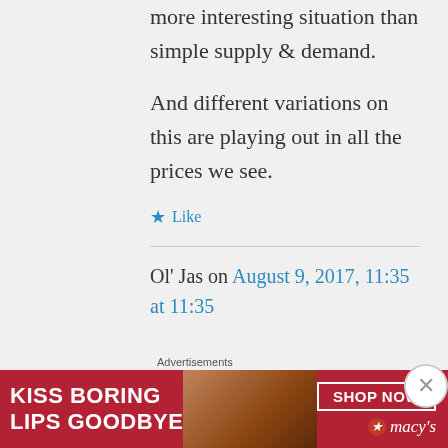more interesting situation than simple supply & demand.
And different variations on this are playing out in all the prices we see.
★ Like
Ol' Jas on August 9, 2017, 11:35 at 11:35
Advertisements
[Figure (photo): Macy's advertisement banner: 'KISS BORING LIPS GOODBYE' with a woman's face featuring red lipstick, SHOP NOW button, and Macy's star logo on red background]